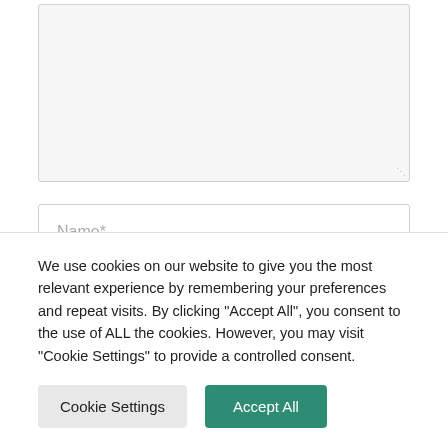[Figure (screenshot): A textarea input box with a light gray background and resize handle in the bottom-right corner]
[Figure (screenshot): A text input field with placeholder text 'Name*']
We use cookies on our website to give you the most relevant experience by remembering your preferences and repeat visits. By clicking "Accept All", you consent to the use of ALL the cookies. However, you may visit "Cookie Settings" to provide a controlled consent.
[Figure (screenshot): Two buttons: 'Cookie Settings' (gray) and 'Accept All' (teal/green)]